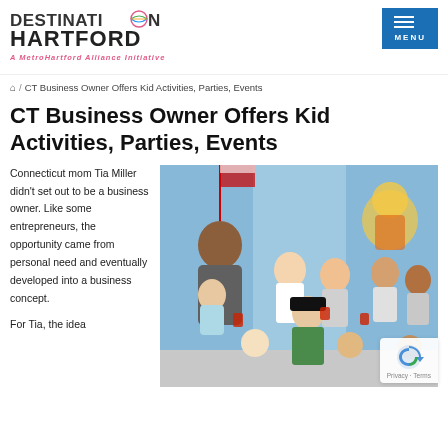DESTINATION HARTFORD — A MetroHartford Alliance Initiative | MENU
🏠 / CT Business Owner Offers Kid Activities, Parties, Events
CT Business Owner Offers Kid Activities, Parties, Events
Connecticut mom Tia Miller didn't set out to be a business owner. Like some entrepreneurs, the opportunity came from personal need and eventually developed into a business concept.
For Tia, the idea
[Figure (photo): Group photo of a woman (Tia Miller) holding a baby and surrounded by children dressed in pirate costumes and casual clothes, with cartoon character backdrop]